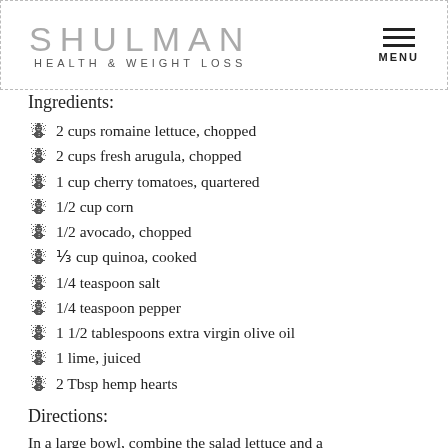SHULMAN HEALTH & WEIGHT LOSS MENU
Ingredients:
2 cups romaine lettuce, chopped
2 cups fresh arugula, chopped
1 cup cherry tomatoes, quartered
1/2 cup corn
1/2 avocado, chopped
⅓ cup quinoa, cooked
1/4 teaspoon salt
1/4 teaspoon pepper
1 1/2 tablespoons extra virgin olive oil
1 lime, juiced
2 Tbsp hemp hearts
Directions:
In a large bowl, combine the salad lettuce and arugula...